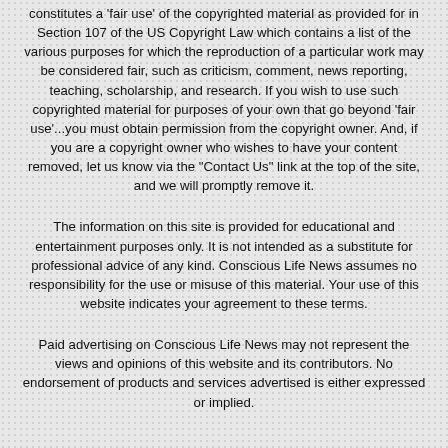constitutes a 'fair use' of the copyrighted material as provided for in Section 107 of the US Copyright Law which contains a list of the various purposes for which the reproduction of a particular work may be considered fair, such as criticism, comment, news reporting, teaching, scholarship, and research. If you wish to use such copyrighted material for purposes of your own that go beyond 'fair use'...you must obtain permission from the copyright owner. And, if you are a copyright owner who wishes to have your content removed, let us know via the "Contact Us" link at the top of the site, and we will promptly remove it.
The information on this site is provided for educational and entertainment purposes only. It is not intended as a substitute for professional advice of any kind. Conscious Life News assumes no responsibility for the use or misuse of this material. Your use of this website indicates your agreement to these terms.
Paid advertising on Conscious Life News may not represent the views and opinions of this website and its contributors. No endorsement of products and services advertised is either expressed or implied.